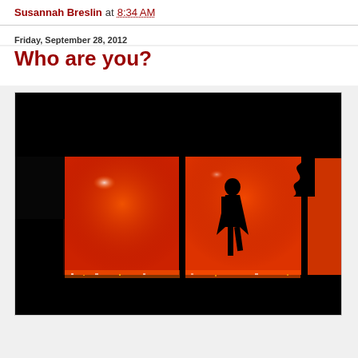Susannah Breslin at 8:34 AM
Friday, September 28, 2012
Who are you?
[Figure (photo): A dark photograph showing a silhouette of a person standing in front of large illuminated windows glowing bright red-orange. Trees are visible in the upper right. The scene is dramatic with deep black surroundings contrasting with the vivid red-orange light from the windows.]